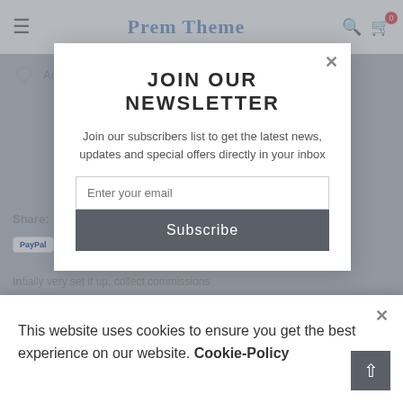Prem Theme
Add to wishlist
JOIN OUR NEWSLETTER
Join our subscribers list to get the latest news, updates and special offers directly in your inbox
Enter your email
Subscribe
Share:
DESCRIPTION   REVIEWS
This website uses cookies to ensure you get the best experience on our website. Cookie-Policy